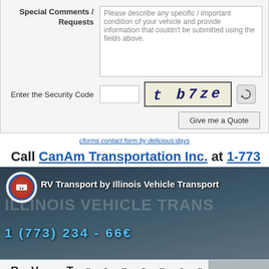Special Comments / Requests
Please describe any specific / important condition of your vehicle and provide information that couldn't be submitted using the fields above.
Enter the Security Code
[Figure (screenshot): CAPTCHA image showing text 't b7ze' in dark blue italic distorted font on light yellow background with dark border]
Give me a Quote
cforms contact form by delicious:days
Call CanAm Transportation Inc. at 1-773-
[Figure (screenshot): YouTube video thumbnail for 'RV Transport by Illinois Vehicle Transport' showing parking lot scene with logo, phone number 1(773)234-66 and RV Transport text with Secure doors, windows, drawers, non-permanently text and YouTube play button overlay]